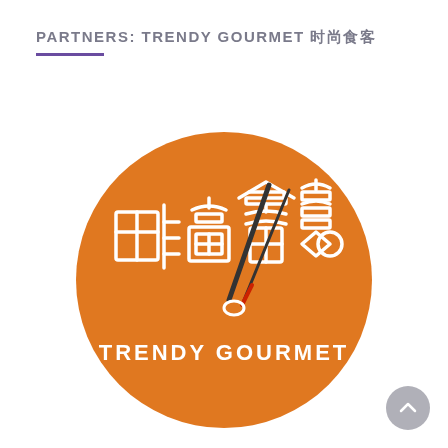PARTNERS: TRENDY GOURMET 时尚食客
[Figure (logo): Trendy Gourmet logo: orange circle with white Chinese characters 时尚食客 and chopsticks/spoon design, with text TRENDY GOURMET below]